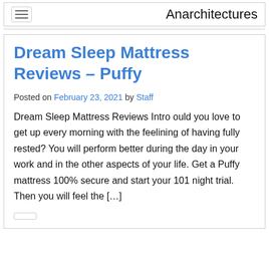Anarchitectures
Dream Sleep Mattress Reviews – Puffy
Posted on February 23, 2021 by Staff
Dream Sleep Mattress Reviews Intro ould you love to get up every morning with the feelining of having fully rested? You will perform better during the day in your work and in the other aspects of your life. Get a Puffy mattress 100% secure and start your 101 night trial. Then you will feel the […]